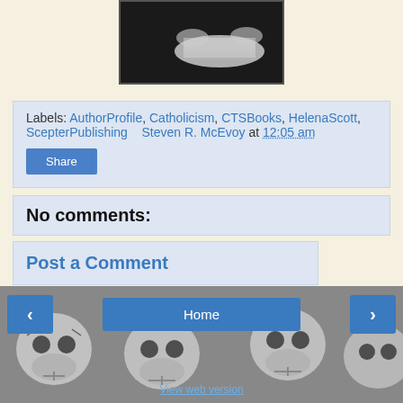[Figure (photo): Black and white photo of hands with a library card showing '270. 15 Tol.']
Labels: AuthorProfile, Catholicism, CTSBooks, HelenaScott, ScepterPublishing    Steven R. McEvoy at 12:05 am
Share
No comments:
Post a Comment
Home
View web version